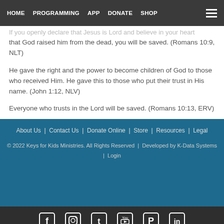HOME  PROGRAMMING  APP  DONATE  SHOP
If you openly declare that Jesus is Lord and believe in your heart that God raised him from the dead, you will be saved. (Romans 10:9, NLT)
He gave the right and the power to become children of God to those who received Him. He gave this to those who put their trust in His name. (John 1:12, NLV)
Everyone who trusts in the Lord will be saved. (Romans 10:13, ERV)
About Us | Contact Us | Donate Online | Store | Resources | Legal
© 2022 Keys for Kids Ministries. All Rights Reserved | Developed by K-Data Systems | Login
[Figure (other): Social media icons row: Facebook, Instagram, Twitter, YouTube, Pinterest, LinkedIn]